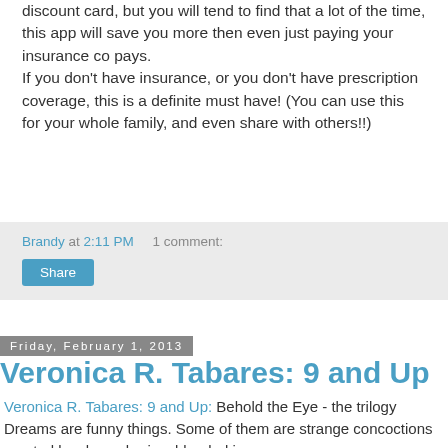discount card, but you will tend to find that a lot of the time, this app will save you more then even just paying your insurance co pays.
If you don't have insurance, or you don't have prescription coverage, this is a definite must have! (You can use this for your whole family, and even share with others!!)
Brandy at 2:11 PM    1 comment:
Share
Friday, February 1, 2013
Veronica R. Tabares: 9 and Up
Veronica R. Tabares: 9 and Up: Behold the Eye - the trilogy Dreams are funny things. Some of them are strange concoctions created by sleepy brains, blended images w...
These books are excellent for your little ones to read! Aaron is 9 and loves them, and to be honest, I  think these are pretty interesting! (I love off the wall books the best...